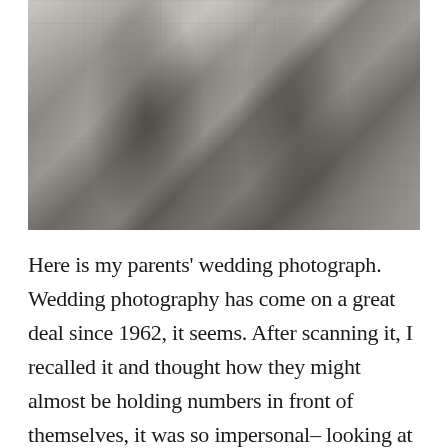[Figure (photo): Black and white wedding photograph from 1962 showing a couple standing together. The man is on the left wearing a suit with a boutonniere, and the woman is on the right wearing a coat with a corsage and holding a prayer book.]
Here is my parents' wedding photograph. Wedding photography has come on a great deal since 1962, it seems. After scanning it, I recalled it and thought how they might almost be holding numbers in front of themselves, it was so impersonal– looking at it again I see it is not quite that bad. I note the prayer book my mother holds.